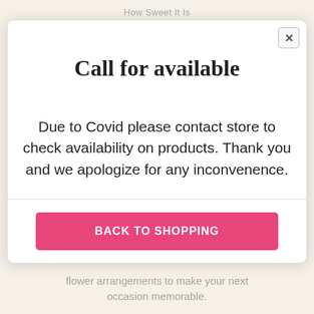How Sweet It Is
Call for available
Due to Covid please contact store to check availability on products. Thank you and we apologize for any inconvenence.
BACK TO SHOPPING
flower arrangements to make your next occasion memorable.